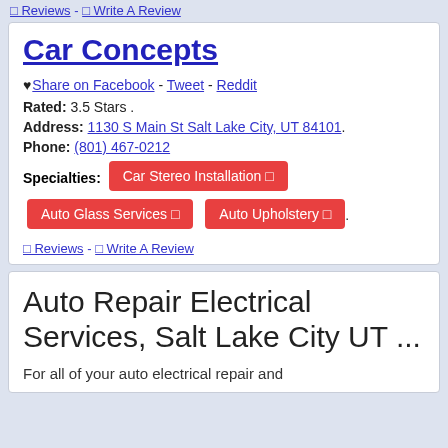0 Reviews - 0 Write A Review
Car Concepts
♥ Share on Facebook - Tweet - Reddit
Rated: 3.5 Stars .
Address: 1130 S Main St Salt Lake City, UT 84101.
Phone: (801) 467-0212
Specialties: Car Stereo Installation  Auto Glass Services  Auto Upholstery  .
0 Reviews - 0 Write A Review
Auto Repair Electrical Services, Salt Lake City UT ...
For all of your auto electrical repair and